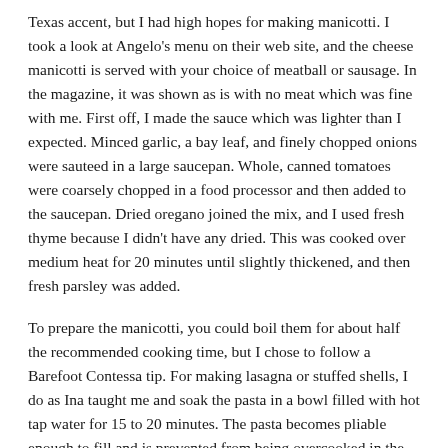Texas accent, but I had high hopes for making manicotti. I took a look at Angelo's menu on their web site, and the cheese manicotti is served with your choice of meatball or sausage. In the magazine, it was shown as is with no meat which was fine with me. First off, I made the sauce which was lighter than I expected. Minced garlic, a bay leaf, and finely chopped onions were sauteed in a large saucepan. Whole, canned tomatoes were coarsely chopped in a food processor and then added to the saucepan. Dried oregano joined the mix, and I used fresh thyme because I didn't have any dried. This was cooked over medium heat for 20 minutes until slightly thickened, and then fresh parsley was added.
To prepare the manicotti, you could boil them for about half the recommended cooking time, but I chose to follow a Barefoot Contessa tip. For making lasagna or stuffed shells, I do as Ina taught me and soak the pasta in a bowl filled with hot tap water for 15 to 20 minutes. The pasta becomes pliable enough to fill and is prevented from being overcooked in the end. The manicotti filling was started by cooking eight cloves of minced garlic, yes eight, in butter. That's a good start. The garlic was added to ricotta, grated parmesan, chopped parsley, freshly grated nutmeg, and eggs. This was combined and spooned into the manicotti tubes. Next time I make this, I may actually put the filling in a piping bag and squeeze it into the manicotti because the spooning method was messy to say the least. I always think transferring